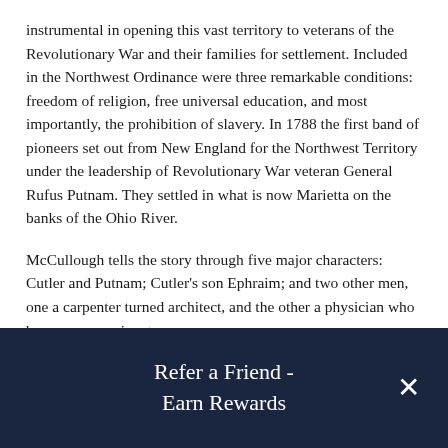instrumental in opening this vast territory to veterans of the Revolutionary War and their families for settlement. Included in the Northwest Ordinance were three remarkable conditions: freedom of religion, free universal education, and most importantly, the prohibition of slavery. In 1788 the first band of pioneers set out from New England for the Northwest Territory under the leadership of Revolutionary War veteran General Rufus Putnam. They settled in what is now Marietta on the banks of the Ohio River.
McCullough tells the story through five major characters: Cutler and Putnam; Cutler's son Ephraim; and two other men, one a carpenter turned architect, and the other a physician who became a prominent
Refer a Friend - Earn Rewards